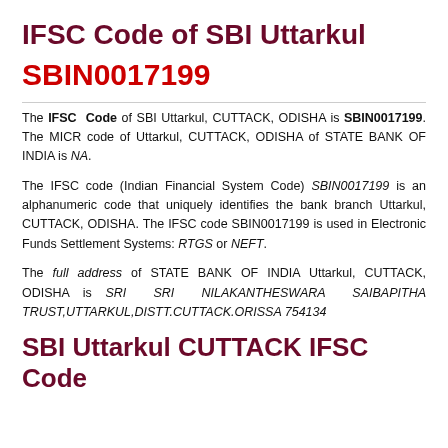IFSC Code of SBI Uttarkul
SBIN0017199
The IFSC Code of SBI Uttarkul, CUTTACK, ODISHA is SBIN0017199. The MICR code of Uttarkul, CUTTACK, ODISHA of STATE BANK OF INDIA is NA.
The IFSC code (Indian Financial System Code) SBIN0017199 is an alphanumeric code that uniquely identifies the bank branch Uttarkul, CUTTACK, ODISHA. The IFSC code SBIN0017199 is used in Electronic Funds Settlement Systems: RTGS or NEFT.
The full address of STATE BANK OF INDIA Uttarkul, CUTTACK, ODISHA is SRI SRI NILAKANTHESWARA SAIBAPITHA TRUST,UTTARKUL,DISTT.CUTTACK.ORISSA 754134
SBI Uttarkul CUTTACK IFSC Code